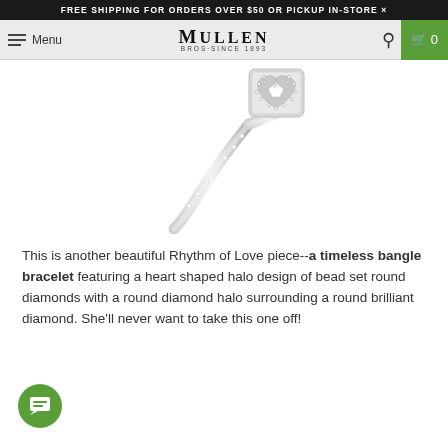FREE SHIPPING FOR ORDERS OVER $50 OR PICKUP IN-STORE ×
Menu | MULLEN BROS·SINCE 1893 | 🔍 | 🛒 0
[Figure (photo): Close-up photo of a diamond bangle bracelet with a heart-shaped halo design, set with round diamonds, shown against a white background.]
This is another beautiful Rhythm of Love piece--a timeless bangle bracelet featuring a heart shaped halo design of bead set round diamonds with a round diamond halo surrounding a round brilliant diamond. She'll never want to take this one off!